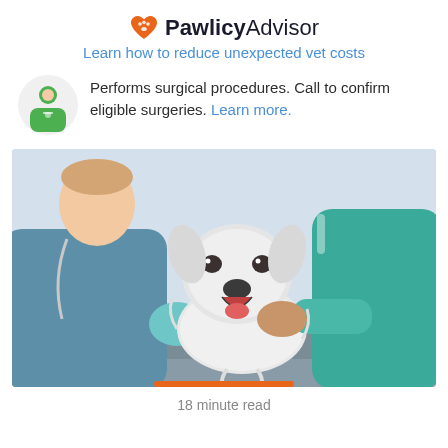PawlicyAdvisor
Learn how to reduce unexpected vet costs
Performs surgical procedures. Call to confirm eligible surgeries. Learn more.
[Figure (photo): Two veterinary professionals examining a small white fluffy dog on an examination table. One vet in blue scrubs and blue gloves is holding a syringe, the other in teal scrubs is holding the dog.]
18 minute read